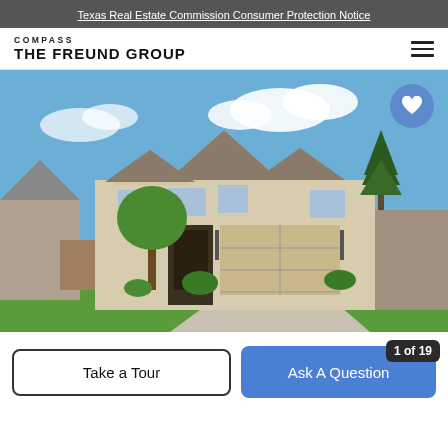Texas Real Estate Commission Consumer Protection Notice
[Figure (logo): Compass / The Freund Group logo]
[Figure (photo): Exterior photo of a two-story stone residential home with green lawn, two-car garage, and blue sky with clouds]
Take a Tour
Ask A Question
1 of 19